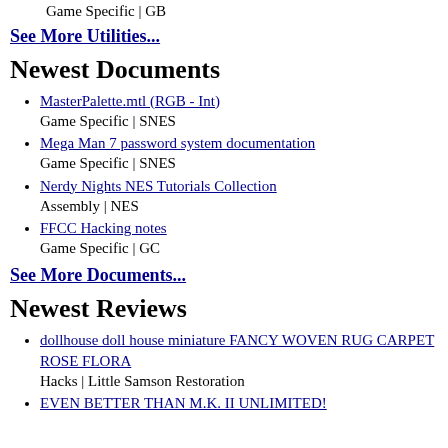Game Specific | GB
See More Utilities...
Newest Documents
MasterPalette.mtl (RGB - Int)
Game Specific | SNES
Mega Man 7 password system documentation
Game Specific | SNES
Nerdy Nights NES Tutorials Collection
Assembly | NES
FFCC Hacking notes
Game Specific | GC
See More Documents...
Newest Reviews
dollhouse doll house miniature FANCY WOVEN RUG CARPET ROSE FLORA
Hacks | Little Samson Restoration
EVEN BETTER THAN M.K. II UNLIMITED!